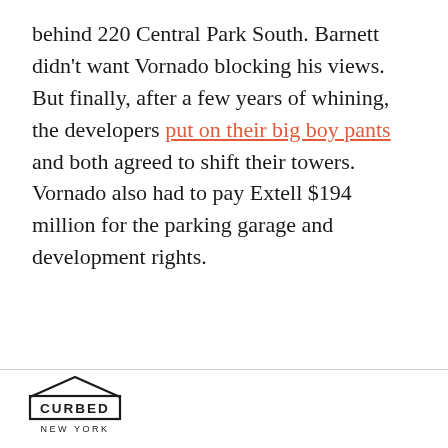behind 220 Central Park South. Barnett didn't want Vornado blocking his views. But finally, after a few years of whining, the developers put on their big boy pants and both agreed to shift their towers. Vornado also had to pay Extell $194 million for the parking garage and development rights.
CURBED NEW YORK